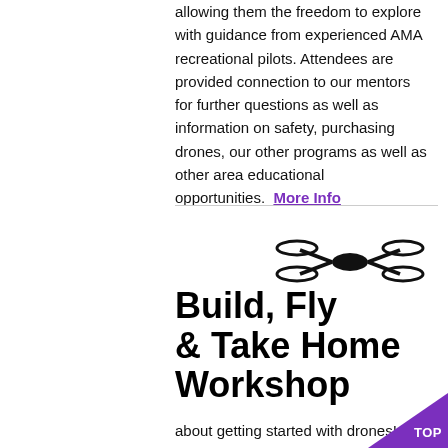allowing them the freedom to explore with guidance from experienced AMA recreational pilots. Attendees are provided connection to our mentors for further questions as well as information on safety, purchasing drones, our other programs as well as other area educational opportunities.  More Info
Build, Fly & Take Home Workshop
(6 hours, age 12+) For those who are serious about getting started with drones!  Learn the ba...